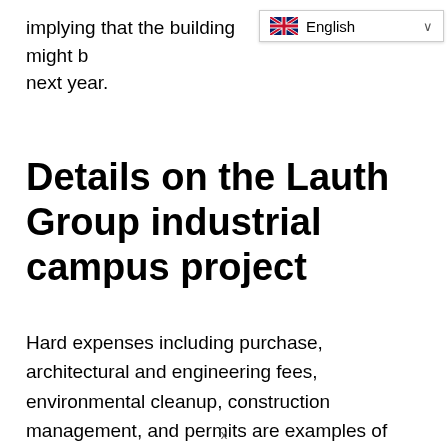implying that the building might b[e ready] next year.
Details on the Lauth Group industrial campus project
Hard expenses including purchase, architectural and engineering fees, environmental cleanup, construction management, and permits are examples of qualified investments. Lauth is required to make an initial capital investment of approximately US$57.9 million in the property under the terms of the IEDC incentives agreement, which [continues]